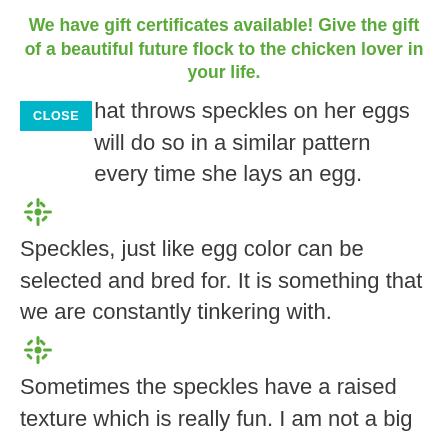We have gift certificates available! Give the gift of a beautiful future flock to the chicken lover in your life.
...hat throws speckles on her eggs will do so in a similar pattern every time she lays an egg.
[Figure (illustration): Green decorative leaf/snowflake icon used as a section divider]
Speckles, just like egg color can be selected and bred for. It is something that we are constantly tinkering with.
[Figure (illustration): Green decorative leaf/snowflake icon used as a section divider]
Sometimes the speckles have a raised texture which is really fun. I am not a big...